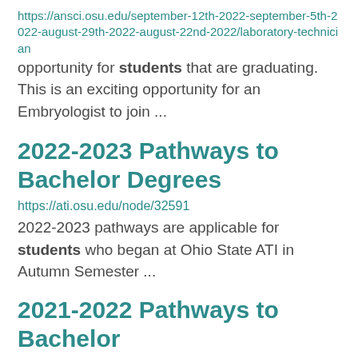https://ansci.osu.edu/september-12th-2022-september-5th-2022-august-29th-2022-august-22nd-2022/laboratory-technician opportunity for students that are graduating. This is an exciting opportunity for an Embryologist to join ...
2022-2023 Pathways to Bachelor Degrees
https://ati.osu.edu/node/32591
2022-2023 pathways are applicable for students who began at Ohio State ATI in Autumn Semester ...
2021-2022 Pathways to Bachelor